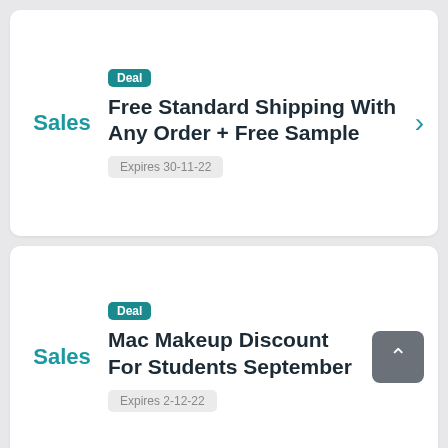Deal
Free Standard Shipping With Any Order + Free Sample
Sales
Expires 30-11-22
Deal
Mac Makeup Discount For Students September
Sales
Expires 2-12-22